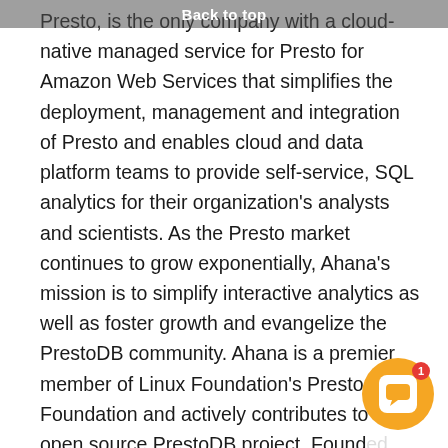Back to top
Presto, is the only company with a cloud-native managed service for Presto for Amazon Web Services that simplifies the deployment, management and integration of Presto and enables cloud and data platform teams to provide self-service, SQL analytics for their organization's analysts and scientists. As the Presto market continues to grow exponentially, Ahana's mission is to simplify interactive analytics as well as foster growth and evangelize the PrestoDB community. Ahana is a premier member of Linux Foundation's Presto Foundation and actively contributes to the open source PrestoDB project. Founded 2020, Ahana is headquartered in San Mateo and operates as an all-remote company.